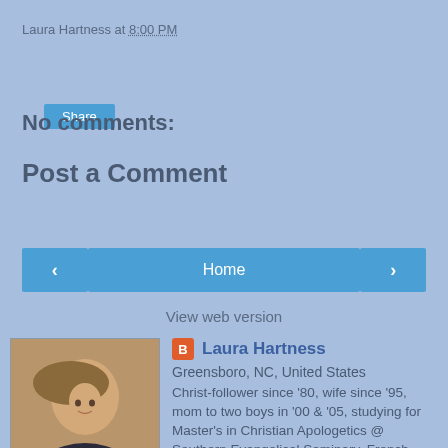Laura Hartness at 8:00 PM
Share
No comments:
Post a Comment
< Home >
View web version
[Figure (photo): Profile photo of Laura Hartness, a woman with blonde hair]
Laura Hartness
Greensboro, NC, United States
Christ-follower since '80, wife since '95, mom to two boys in '00 & '05, studying for Master's in Christian Apologetics @ Southern Evangelical Seminary, French Horn player, humom to Mi-Ki dog & 3 rescue cats, book addict.